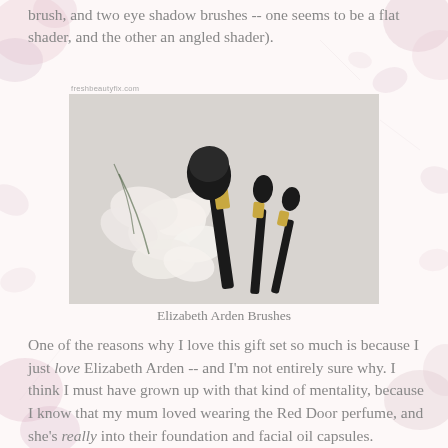brush, and two eye shadow brushes -- one seems to be a flat shader, and the other an angled shader).
[Figure (photo): Three makeup brushes (one large powder brush and two eye shadow brushes with black handles and gold ferrules) arranged with white orchid flowers on a light background. A watermark reading 'freshbeautyfix.com' appears at the top left.]
Elizabeth Arden Brushes
One of the reasons why I love this gift set so much is because I just love Elizabeth Arden -- and I'm not entirely sure why. I think I must have grown up with that kind of mentality, because I know that my mum loved wearing the Red Door perfume, and she's really into their foundation and facial oil capsules.